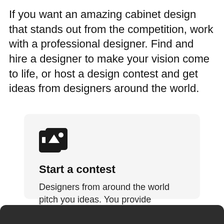If you want an amazing cabinet design that stands out from the competition, work with a professional designer. Find and hire a designer to make your vision come to life, or host a design contest and get ideas from designers around the world.
[Figure (illustration): Icon representing a design contest — two overlapping cards with geometric shapes (square with circle, and triangle with dot)]
Start a contest
Designers from around the world pitch you ideas. You provide feedback, hone your favorites and choose a winner.